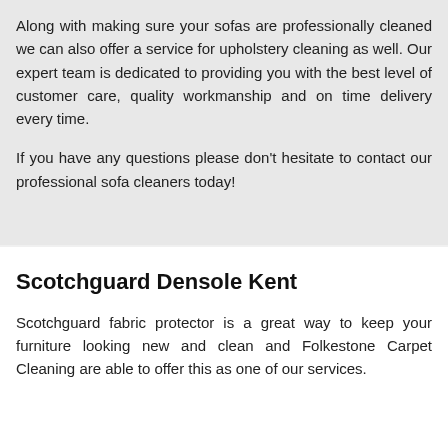Along with making sure your sofas are professionally cleaned we can also offer a service for upholstery cleaning as well. Our expert team is dedicated to providing you with the best level of customer care, quality workmanship and on time delivery every time.
If you have any questions please don’t hesitate to contact our professional sofa cleaners today!
Scotchguard Densole Kent
Scotchguard fabric protector is a great way to keep your furniture looking new and clean and Folkestone Carpet Cleaning are able to offer this as one of our services.